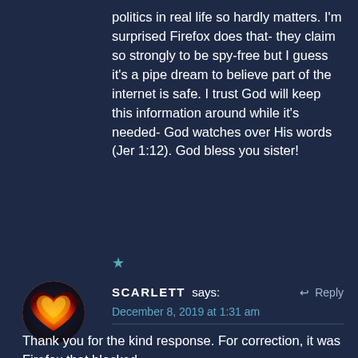politics in real life so hardly matters. I'm surprised Firefox does that- they claim so strongly to be spy-free but I guess it's a pipe dream to believe part of the internet is safe. I trust God will keep this information around while it's needed- God watches over His words (Jer 1:12). God bless you sister!
★
[Figure (photo): Circular avatar image showing a fiery heart shape in red, orange and gold tones against dark background — profile picture for user Scarlett]
SCARLETT says:  ↩ Reply
December 8, 2019 at 1:31 am
Thank you for the kind response. For correction, it was Firefox that blocked